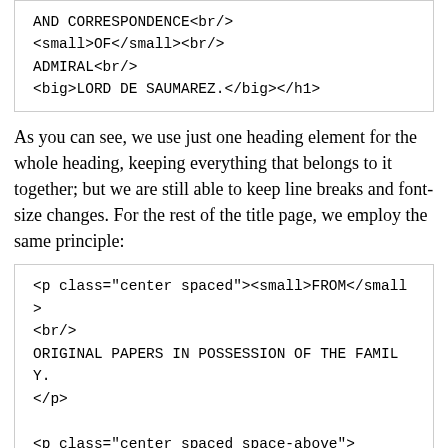AND CORRESPONDENCE<br/>
<small>OF</small><br/>
ADMIRAL<br/>
<big>LORD DE SAUMAREZ.</big></h1>
As you can see, we use just one heading element for the whole heading, keeping everything that belongs to it together; but we are still able to keep line breaks and font-size changes. For the rest of the title page, we employ the same principle:
<p class="center spaced"><small>FROM</small>
<br/>
ORIGINAL PAPERS IN POSSESSION OF THE FAMILY.
</p>

<p class="center spaced space-above">
BY SIR JOHN ROSS, C.B. K.S.A. K.C.S.
F.R.A.S.<br/>
<small>CAPTAIN IN THE ROYAL NAVY.</small>